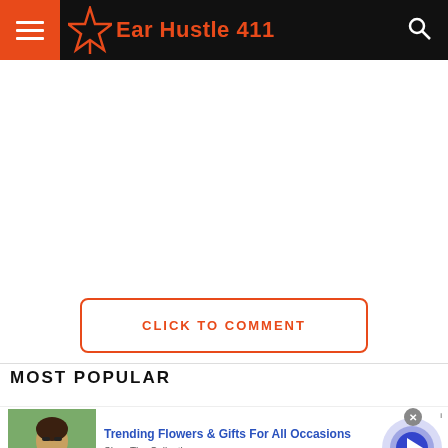Ear Hustle 411
CLICK TO COMMENT
MOST POPULAR
[Figure (screenshot): Advertisement banner for 1800flowers.com: 'Trending Flowers & Gifts For All Occasions' with a photo of a woman holding flowers, shop the collection link, and a blue arrow button.]